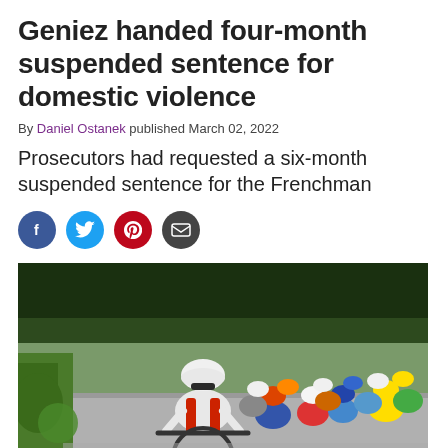Geniez handed four-month suspended sentence for domestic violence
By Daniel Ostanek published March 02, 2022
Prosecutors had requested a six-month suspended sentence for the Frenchman
[Figure (other): Social sharing icons: Facebook, Twitter, Pinterest, Email]
[Figure (photo): Cyclists in a road race, one rider in a white helmet and red/white jersey leading a large peloton through a tree-lined road]